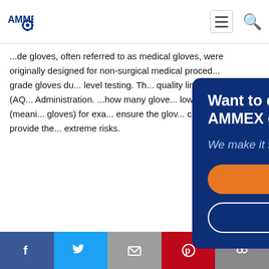[Figure (logo): AMMEX logo with gear icon in blue]
...de gloves, often referred to as medical gloves, were originally designed for non-surgical medical proced... grade gloves du... level testing. Th... quality limits (AQ... Administration. ...how many glove... low AQL (meani... gloves) for exa... ensure the glov... can provide the... extreme risks.
[Figure (screenshot): Modal popup with dark blue background. Headline: 'Want to distribute AMMEX gloves?' Subtext: 'We make it simple.' Orange button: 'Start Now'. Outline button: 'Why AMMEX?']
Continue reading
[Figure (infographic): Social share bar with Facebook, Twitter, Email, Pinterest, and link icons]